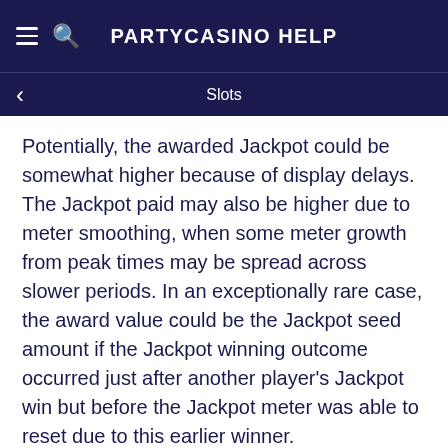PARTYCASINO Help
Slots
Potentially, the awarded Jackpot could be somewhat higher because of display delays. The Jackpot paid may also be higher due to meter smoothing, when some meter growth from peak times may be spread across slower periods. In an exceptionally rare case, the award value could be the Jackpot seed amount if the Jackpot winning outcome occurred just after another player's Jackpot win but before the Jackpot meter was able to reset due to this earlier winner.